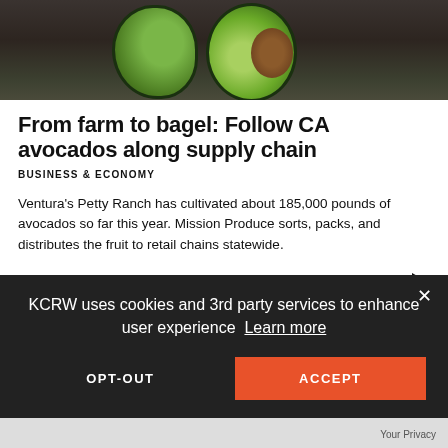[Figure (photo): Close-up photo of cut avocado halves on a dark wooden surface, showing green flesh and brown seed]
From farm to bagel: Follow CA avocados along supply chain
BUSINESS & ECONOMY
Ventura's Petty Ranch has cultivated about 185,000 pounds of avocados so far this year. Mission Produce sorts, packs, and distributes the fruit to retail chains statewide.
Aug. 25 | from Greater LA
KCRW uses cookies and 3rd party services to enhance user experience Learn more
OPT-OUT
ACCEPT
Your Privacy